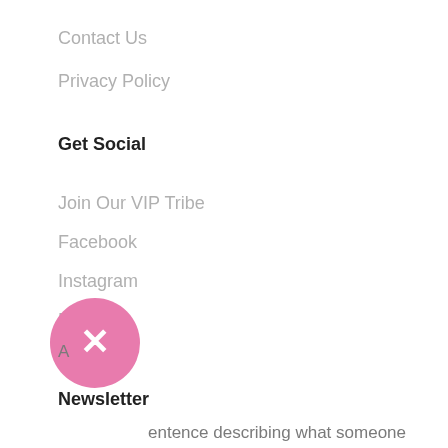Contact Us
Privacy Policy
Get Social
Join Our VIP Tribe
Facebook
Instagram
Pinterest
Newsletter
A sentence describing what someone will receive by subscribing